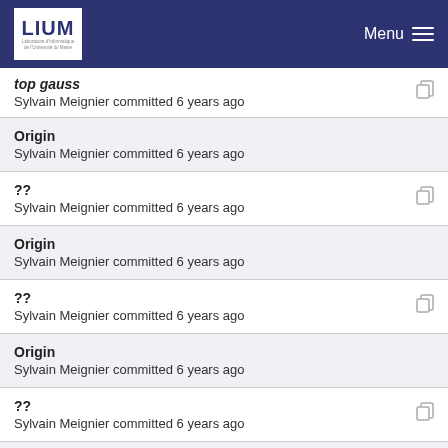LIUM   Menu
top gauss
Sylvain Meignier committed 6 years ago
Origin
Sylvain Meignier committed 6 years ago
??
Sylvain Meignier committed 6 years ago
Origin
Sylvain Meignier committed 6 years ago
??
Sylvain Meignier committed 6 years ago
Origin
Sylvain Meignier committed 6 years ago
??
Sylvain Meignier committed 6 years ago
top gauss
Sylvain Meignier committed 6 years ago